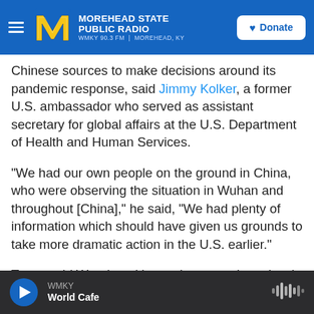MOREHEAD STATE PUBLIC RADIO | WMKY 90.3 FM | MOREHEAD, KY | Donate
Chinese sources to make decisions around its pandemic response, said Jimmy Kolker, a former U.S. ambassador who served as assistant secretary for global affairs at the U.S. Department of Health and Human Services.
"We had our own people on the ground in China, who were observing the situation in Wuhan and throughout [China]," he said, "We had plenty of information which should have given us grounds to take more dramatic action in the U.S. earlier."
Trump told Woodward in a subsequent interview in March that he was downplaying the virus's severity
WMKY | World Cafe